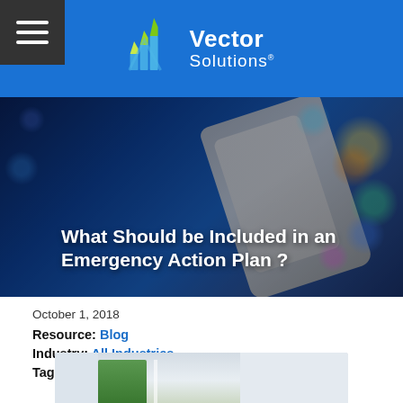Vector Solutions
[Figure (photo): Hero background image: person holding a smartphone with colorful bokeh background, overlaid with article title text]
What Should be Included in an Emergency Action Plan ?
October 1, 2018
Resource: Blog
Industry: All Industries
Tags: Vector EHS Management
[Figure (photo): Partial photo of a bright interior room with window and greenery visible, cropped at bottom of page]